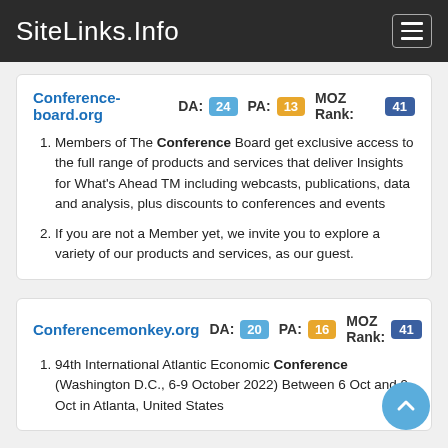SiteLinks.Info
Conference-board.org DA: 24 PA: 13 MOZ Rank: 41
Members of The Conference Board get exclusive access to the full range of products and services that deliver Insights for What's Ahead TM including webcasts, publications, data and analysis, plus discounts to conferences and events
If you are not a Member yet, we invite you to explore a variety of our products and services, as our guest.
Conferencemonkey.org DA: 20 PA: 16 MOZ Rank: 41
94th International Atlantic Economic Conference (Washington D.C., 6-9 October 2022) Between 6 Oct and 9 Oct in Atlanta, United States